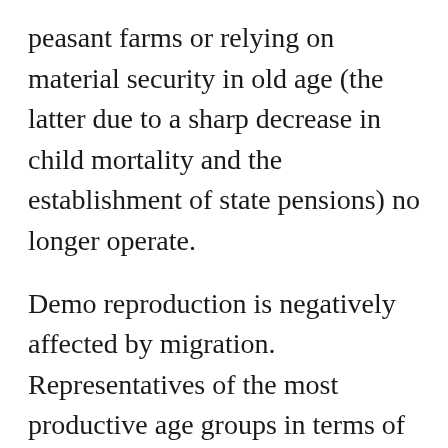peasant farms or relying on material security in old age (the latter due to a sharp decrease in child mortality and the establishment of state pensions) no longer operate.
Demo reproduction is negatively affected by migration. Representatives of the most productive age groups in terms of childbearing and economic relations prevail among migrants. If a family migrates in its entirety, most of it refrains from having children in a foreign land, and the break with families negatively affects the birth rate.
Fertility also decreases due to an increase in life